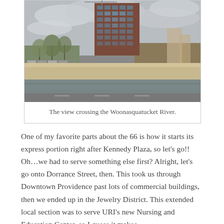[Figure (photo): View from a bridge crossing the Woonasquatucket River in Providence, showing a tall multi-story brick and glass office building in the center, with overcast sky, bare trees, parked cars, and a concrete river wall/embankment in the foreground.]
The view crossing the Woonasquatucket River.
One of my favorite parts about the 66 is how it starts its express portion right after Kennedy Plaza, so let's go!! Oh…we had to serve something else first? Alright, let's go onto Dorrance Street, then. This took us through Downtown Providence past lots of commercial buildings, then we ended up in the Jewelry District. This extended local section was to serve URI's new Nursing and Education Center, so I guess it makes